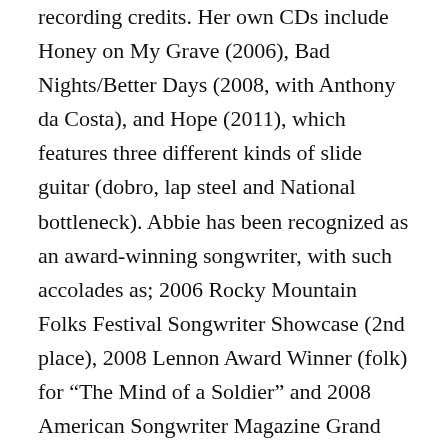recording credits. Her own CDs include Honey on My Grave (2006), Bad Nights/Better Days (2008, with Anthony da Costa), and Hope (2011), which features three different kinds of slide guitar (dobro, lap steel and National bottleneck). Abbie has been recognized as an award-winning songwriter, with such accolades as; 2006 Rocky Mountain Folks Festival Songwriter Showcase (2nd place), 2008 Lennon Award Winner (folk) for “The Mind of a Soldier” and 2008 American Songwriter Magazine Grand Prize Lyric Winner for “I’d Rather Be.” “The Mind of a Soldier” was also featured on Lufthansa Airlines in 2010.
Abbie has had the honor of being part of the songwriting faculty at the 2010 and 2011